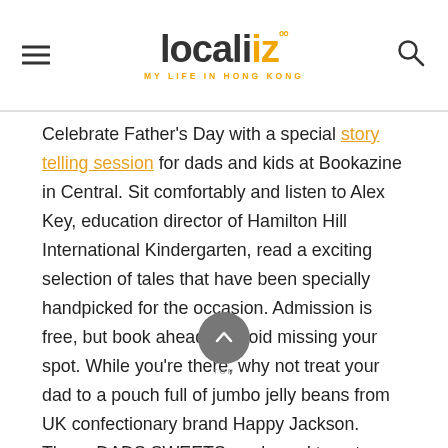localiiz — MY LIFE IN HONG KONG
Celebrate Father's Day with a special story telling session for dads and kids at Bookazine in Central. Sit comfortably and listen to Alex Key, education director of Hamilton Hill International Kindergarten, read a exciting selection of tales that have been specially handpicked for the occasion. Admission is free, but book ahead to avoid missing your spot. While you're there, why not treat your dad to a pouch full of jumbo jelly beans from UK confectionary brand Happy Jackson. These DADS SWEETS are bound to put a smile on his face – and if you ask him nicely, he may even share them with you. When: June 18, (11am – 12pm) Where: Bookazine, Shop 326 – 328, 3/F